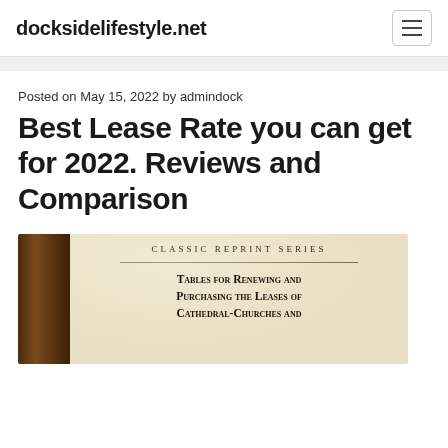docksidelifestyle.net
Posted on May 15, 2022 by admindock
Best Lease Rate you can get for 2022. Reviews and Comparison
[Figure (photo): Book cover showing Classic Reprint Series: Tables for Renewing and Purchasing the Leases of Cathedral-Churches and...]